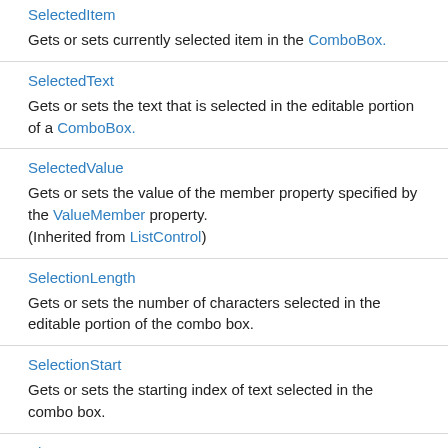SelectedItem
Gets or sets currently selected item in the ComboBox.
SelectedText
Gets or sets the text that is selected in the editable portion of a ComboBox.
SelectedValue
Gets or sets the value of the member property specified by the ValueMember property.
(Inherited from ListControl)
SelectionLength
Gets or sets the number of characters selected in the editable portion of the combo box.
SelectionStart
Gets or sets the starting index of text selected in the combo box.
ShowFocusCues